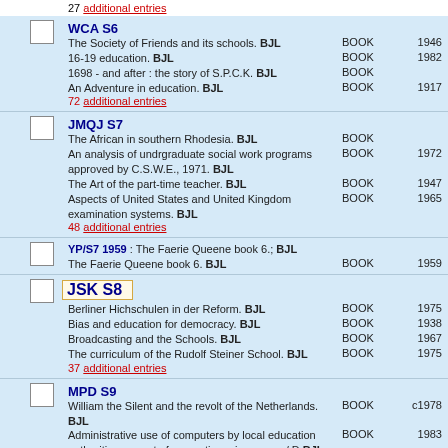27 additional entries
WCA S6
The Society of Friends and its schools. BJL  BOOK  1946
16-19 education. BJL  BOOK  1982
1698 - and after : the story of S.P.C.K. BJL  BOOK
An Adventure in education. BJL  BOOK  1917
72 additional entries
JMQJ S7
The African in southern Rhodesia. BJL  BOOK
An analysis of undrgraduate social work programs approved by C.S.W.E., 1971. BJL  BOOK  1972
The Art of the part-time teacher. BJL  BOOK  1947
Aspects of United States and United Kingdom examination systems. BJL  BOOK  1965
48 additional entries
YP/S7 1959 : The Faerie Queene book 6.; BJL
The Faerie Queene book 6. BJL  BOOK  1959
JSK S8
Berliner Hichschulen in der Reform. BJL  BOOK  1975
Bias and education for democracy. BJL  BOOK  1938
Broadcasting and the Schools. BJL  BOOK  1967
The curriculum of the Rudolf Steiner School. BJL  BOOK  1975
37 additional entries
MPD S9
William the Silent and the revolt of the Netherlands. BJL  BOOK  c1978
Administrative use of computers by local education authorities : report of a questionnaire survey / D BJL  BOOK  1983
Annual report summary of the Ministry of Education, 1978. BJL  BOOK  1978
Annual report summary of the Ministry of Education, 1979. BJL  BOOK  1979
47 additional entries